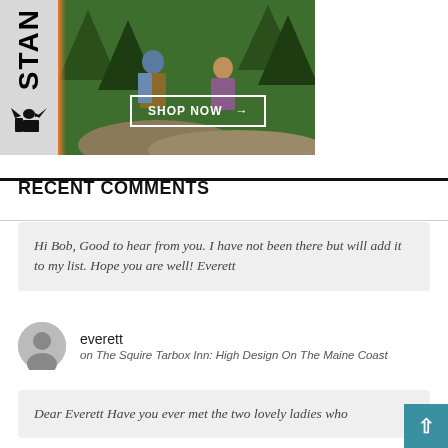[Figure (photo): Stanley brand advertisement with two people sitting on rocks outdoors with forest background, vertical STAN text on left side with griffin logo, SHOP NOW button with arrow]
RECENT COMMENTS
Hi Bob, Good to hear from you. I have not been there but will add it to my list. Hope you are well! Everett
everett
on The Squire Tarbox Inn: High Design On The Maine Coast
Dear Everett Have you ever met the two lovely ladies who